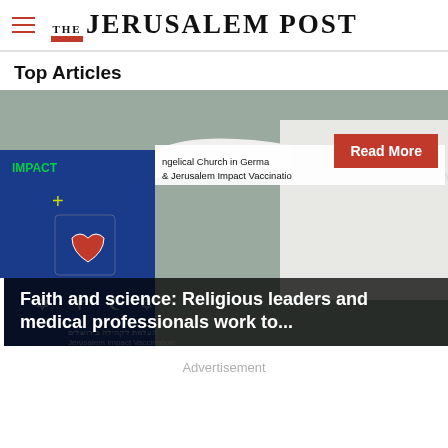THE JERUSALEM POST
Top Articles
[Figure (photo): A vaccination tent with banners reading 'Evangelical Church in Germany & Jerusalem Impact Vaccination' and 'IMPACT', with religious symbols (Star of David, cross, crescent). A man in black wearing a kippah stands in the foreground. A red 'Read More' button overlays the top right.]
Faith and science: Religious leaders and medical professionals work to...
Advertisement